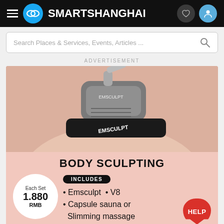SMARTSHANGHAI
Search Places & Services, Events, Articles ...
ADVERTISEMENT
[Figure (photo): Close-up photo of an Emsculpt body sculpting device strapped to a person's abdomen with a black strap labeled EMSCULPT]
BODY SCULPTING
INCLUDES
Each Set 1.880 RMB
• Emsculpt  • V8
• Capsule sauna or Slimming massage